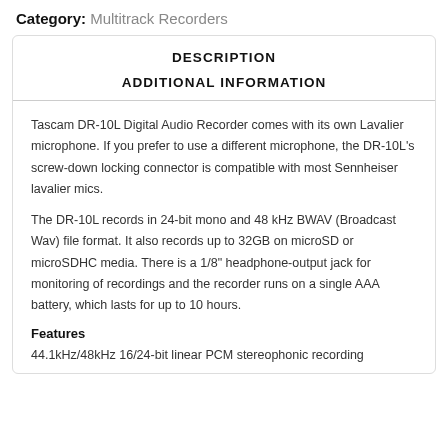Category: Multitrack Recorders
DESCRIPTION
ADDITIONAL INFORMATION
Tascam DR-10L Digital Audio Recorder comes with its own Lavalier microphone. If you prefer to use a different microphone, the DR-10L's screw-down locking connector is compatible with most Sennheiser lavalier mics.
The DR-10L records in 24-bit mono and 48 kHz BWAV (Broadcast Wav) file format. It also records up to 32GB on microSD or microSDHC media. There is a 1/8" headphone-output jack for monitoring of recordings and the recorder runs on a single AAA battery, which lasts for up to 10 hours.
Features
44.1kHz/48kHz 16/24-bit linear PCM stereophonic recording